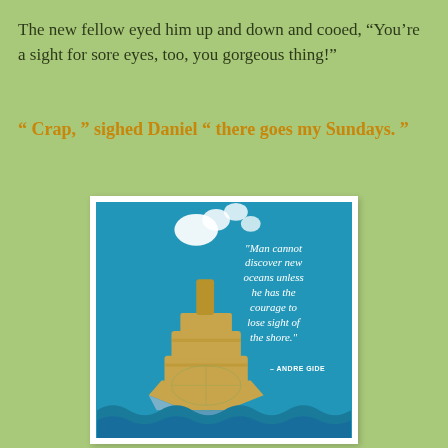The new fellow eyed him up and down and cooed, “You’re a sight for sore eyes, too, you gorgeous thing!”
" Crap, " sighed Daniel " there goes my Sundays. "
[Figure (illustration): Illustration of a ship made from a rolled map/globe floating on blue water, with white steam/clouds above it, alongside the quote: “Man cannot discover new oceans unless he has the courage to lose sight of the shore.” – ANDRE GIDE]